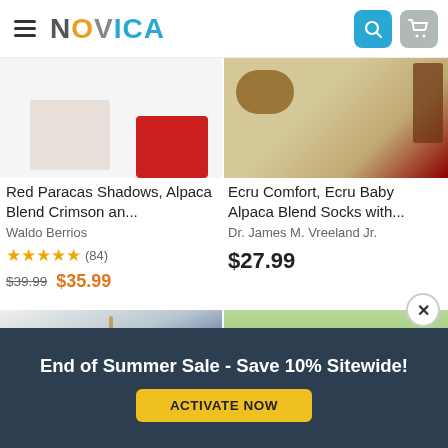[Figure (screenshot): NOVICA website header with hamburger menu, NOVICA logo, search icon, and cart icon]
[Figure (photo): Red Paracas Shadows product image showing crimson red fabric]
Red Paracas Shadows, Alpaca Blend Crimson an...
Waldo Berrios
★★★★★ (84)
$39.99  $35.99
[Figure (photo): Ecru Comfort product image showing alpaca blend socks]
Ecru Comfort, Ecru Baby Alpaca Blend Socks with...
Dr. James M. Vreeland Jr.
$27.99
[Figure (photo): Colorful scarf or shawl on a wooden hanger against white background]
[Figure (photo): Man photographed outdoors with greenery background, head partially shown]
End of Summer Sale - Save 10% Sitewide!
ACTIVATE NOW